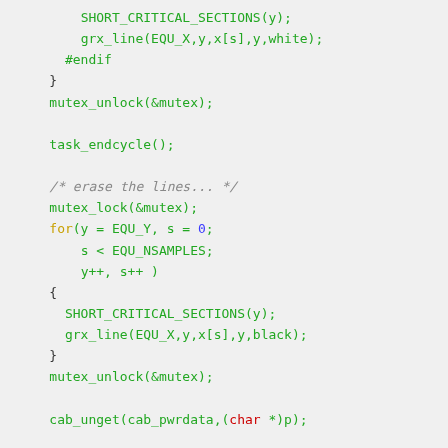[Figure (screenshot): Source code snippet in C showing mutex locks, for loop, SHORT_CRITICAL_SECTIONS, grx_line calls, cab_unget, and TASK equ2d_task function definition with syntax highlighting in green, yellow, blue, red, and gray colors on a light gray background.]